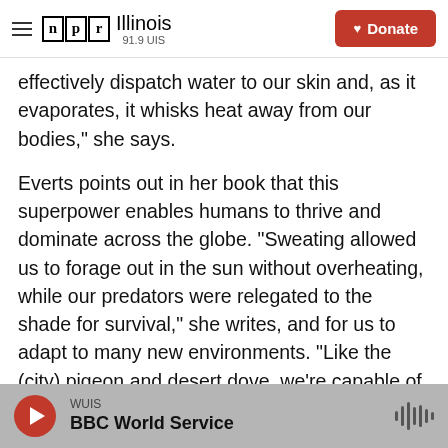NPR Illinois 91.9 UIS — Donate
effectively dispatch water to our skin and, as it evaporates, it whisks heat away from our bodies," she says.
Everts points out in her book that this superpower enables humans to thrive and dominate across the globe. "Sweating allowed us to forage out in the sun without overheating, while our predators were relegated to the shade for survival," she writes, and for us to adapt to many new environments. "Like the (city) pigeon and desert dove, we're capable of surviving almost anywhere."
WUIS — BBC World Service